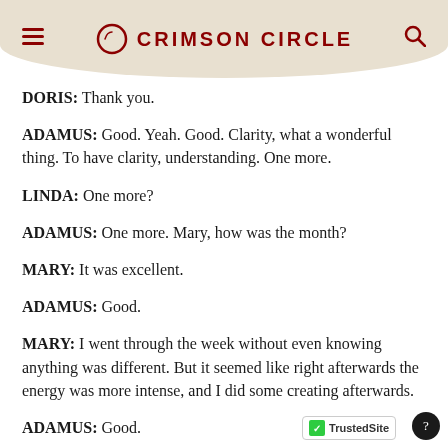CRIMSON CIRCLE
DORIS: Thank you.
ADAMUS: Good. Yeah. Good. Clarity, what a wonderful thing. To have clarity, understanding. One more.
LINDA: One more?
ADAMUS: One more. Mary, how was the month?
MARY: It was excellent.
ADAMUS: Good.
MARY: I went through the week without even knowing anything was different. But it seemed like right afterwards the energy was more intense, and I did some creating afterwards.
ADAMUS: Good.